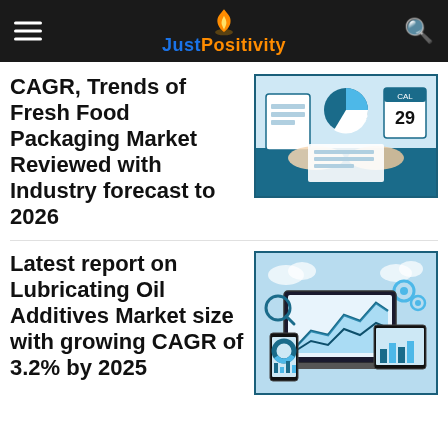JustPositivity
CAGR, Trends of Fresh Food Packaging Market Reviewed with Industry forecast to 2026
[Figure (illustration): Business analyst illustration with pie chart, bar chart, calendar showing date 29, documents and hands pointing at data on desk]
Latest report on Lubricating Oil Additives Market size with growing CAGR of 3.2% by 2025
[Figure (illustration): Market research analytics illustration showing laptop, tablet and phone screens with area charts and bar charts, gears and magnifying glass]